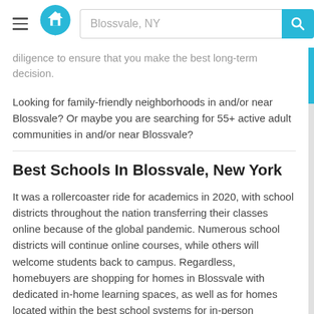Blossvale, NY
diligence to ensure that you make the best long-term decision.
Looking for family-friendly neighborhoods in and/or near Blossvale? Or maybe you are searching for 55+ active adult communities in and/or near Blossvale?
Best Schools In Blossvale, New York
It was a rollercoaster ride for academics in 2020, with school districts throughout the nation transferring their classes online because of the global pandemic. Numerous school districts will continue online courses, while others will welcome students back to campus. Regardless, homebuyers are shopping for homes in Blossvale with dedicated in-home learning spaces, as well as for homes located within the best school systems for in-person instruction in Blossvale.
Pros And Cons Of Living In Blossvale, New York
Home buyers agree that living in a community near Blossvale is